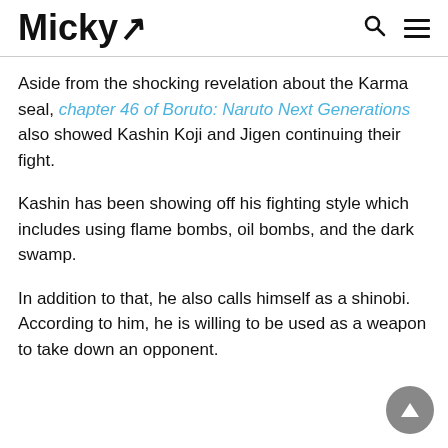Micky [logo with search and menu icons]
Aside from the shocking revelation about the Karma seal, chapter 46 of Boruto: Naruto Next Generations also showed Kashin Koji and Jigen continuing their fight.
Kashin has been showing off his fighting style which includes using flame bombs, oil bombs, and the dark swamp.
In addition to that, he also calls himself as a shinobi. According to him, he is willing to be used as a weapon to take down an opponent.